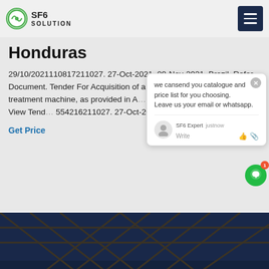SF6 SOLUTION
Honduras
29/10/20211108172110​27. 27-Oct-2021. 09-Nov-2021. Brazil. Refer Document. Tender For Acquisition of a sulfur hexafluoride (... nd treatment machine, as provided in A... of Reference of this notice. View Tende... 554216211027. 27-Oct-2021.
Get Price
[Figure (screenshot): Chat popup with message: we cansend you catalogue and price list for you choosing. Leave us your email or whatsapp. SF6 Expert - justnow. Write input with like and attachment icons.]
[Figure (photo): Dark photo of electrical transmission tower/truss structure against a dark blue sky at night or dusk.]